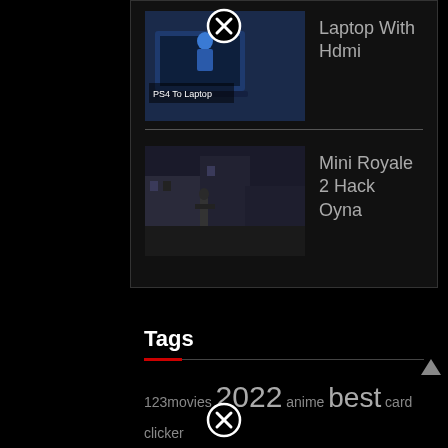[Figure (other): Close/dismiss button (circled X) at top center]
[Figure (photo): Thumbnail image for 'Laptop With Hdmi' article showing PS4 to Laptop connection]
Laptop With Hdmi
[Figure (photo): Thumbnail image for 'Mini Royale 2 Hack Oyna' article showing a first-person shooter game scene]
Mini Royale 2 Hack Oyna
Tags
123movies 2022 anime best card clicker client codes covid does download flash free game games
[Figure (other): Close/dismiss button (circled X) at bottom center]